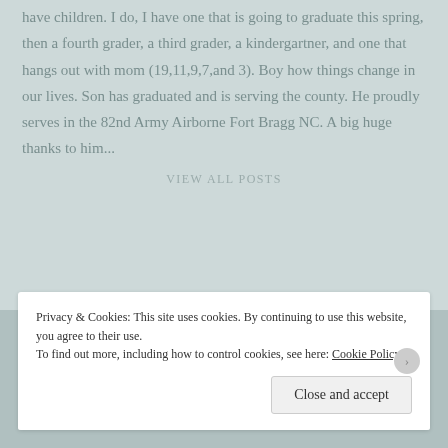have children. I do, I have one that is going to graduate this spring, then a fourth grader, a third grader, a kindergartner, and one that hangs out with mom (19,11,9,7,and 3). Boy how things change in our lives. Son has graduated and is serving the county. He proudly serves in the 82nd Army Airborne Fort Bragg NC. A big huge thanks to him...
VIEW ALL POSTS
Privacy & Cookies: This site uses cookies. By continuing to use this website, you agree to their use.
To find out more, including how to control cookies, see here: Cookie Policy
Close and accept